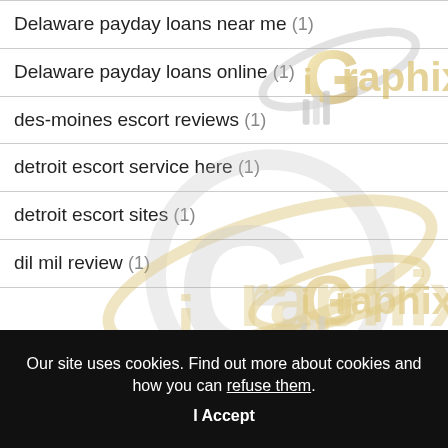Delaware payday loans near me (1)
Delaware payday loans online (1)
des-moines escort reviews (1)
detroit escort service here (1)
detroit escort sites (1)
dil mil review (1)
[Figure (logo): iGraphix watermark logos repeated across the list area — gold and silver stylized G with orbit ring and text 'iGraphix']
Our site uses cookies. Find out more about cookies and how you can refuse them.
I Accept